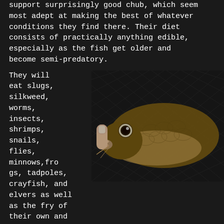support surprisingly good chub, which seem most adept at making the best of whatever conditions they find there. Their diet consists of practically anything edible, especially as the fish get older and become semi-predatory.
They will
eat slugs,
silkweed,
worms,
insects,
shrimps,
snails,
flies,
minnows,frogs, tadpoles, crayfish, and elvers as well as the fry of their own and other species.
[Figure (photo): Close-up photograph of a chub fish being held in a net, showing its large eye and distinctive mouth with a human finger near its lips, against a dark mesh net background.]
Heck I've even targeted them on strawberry mushrooms.